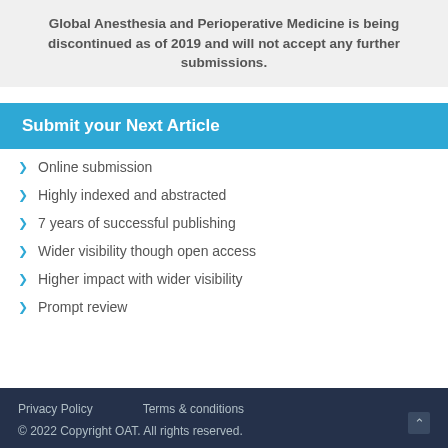Global Anesthesia and Perioperative Medicine is being discontinued as of 2019 and will not accept any further submissions.
Submit your Next Article
Online submission
Highly indexed and abstracted
7 years of successful publishing
Wider visibility though open access
Higher impact with wider visibility
Prompt review
Privacy Policy   Terms & conditions
© 2022 Copyright OAT. All rights reserved.